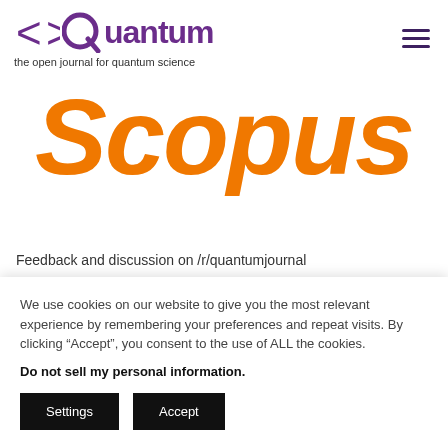[Figure (logo): Quantum journal logo — stylized angle brackets forming Q shape with purple text 'Quantum' and subtitle 'the open journal for quantum science']
[Figure (logo): Scopus logo in large orange italic bold text]
Feedback and discussion on /r/quantumjournal
Contact by email
We use cookies on our website to give you the most relevant experience by remembering your preferences and repeat visits. By clicking “Accept”, you consent to the use of ALL the cookies.
Do not sell my personal information.